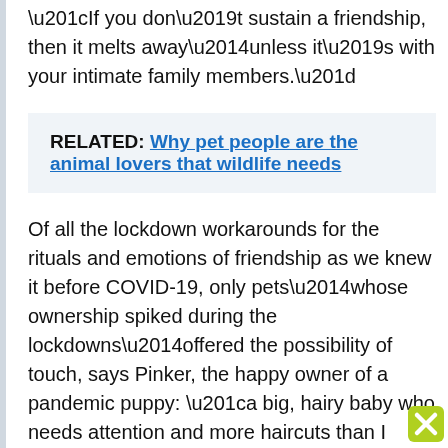“If you don’t sustain a friendship, then it melts away—unless it’s with your intimate family members.”
RELATED: Why pet people are the animal lovers that wildlife needs
Of all the lockdown workarounds for the rituals and emotions of friendship as we knew it before COVID-19, only pets—whose ownership spiked during the lockdowns—offered the possibility of touch, says Pinker, the happy owner of a pandemic puppy: “a big, hairy baby who needs attention and more haircuts than I get.”
Both psychologists see the pandemic as a real-